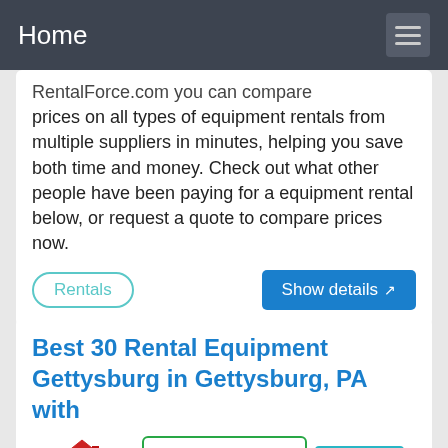Home
RentalForce.com you can compare prices on all types of equipment rentals from multiple suppliers in minutes, helping you save both time and money. Check out what other people have been paying for a equipment rental below, or request a quote to compare prices now.
Rentals
Show details
Best 30 Rental Equipment Gettysburg in Gettysburg, PA with
[Figure (logo): Real Estate logo with red house icon and REAL ESTATE text]
(888) 489-0482
9 hours ago
Rental Service Stores & Yards Garbage Disposal Equipment Industrial &